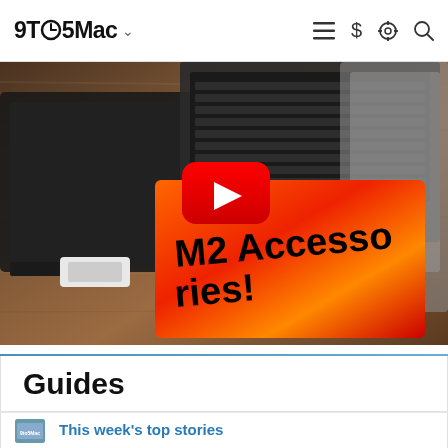9TO5Mac
[Figure (screenshot): YouTube video thumbnail showing Mac accessories laid out on a wooden desk including laptop, notebook, mouse, and other gadgets. Text overlay reads 'M2 Accessories!' with a YouTube play button in the center.]
Guides
[Figure (photo): Thumbnail photo of a 9to5Mac branded sign/display]
This week's top stories
Get this week's top AAPL stories.